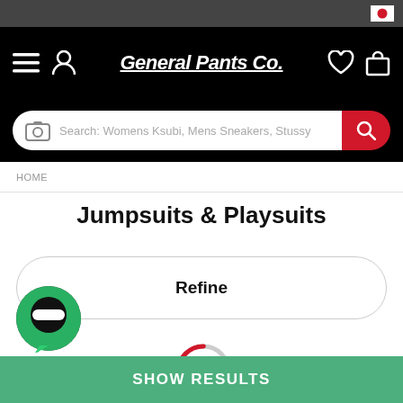General Pants Co. - navigation header with menu, account, wishlist, bag icons and search bar
HOME
Jumpsuits & Playsuits
Refine
[Figure (screenshot): Loading spinner circle, partially red arc on grey circle]
SHOW RESULTS